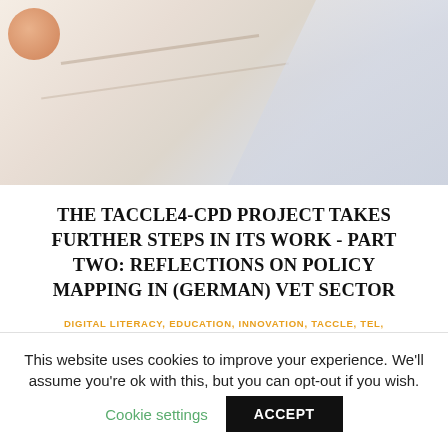[Figure (photo): Hero banner image showing a light beige/cream textured background with a warm circular object in top-left corner and a pale grey-blue diagonal area to the right, suggesting a desk or notebook scene.]
THE TACCLE4-CPD PROJECT TAKES FURTHER STEPS IN ITS WORK - PART TWO: REFLECTIONS ON POLICY MAPPING IN (GERMAN) VET SECTOR
DIGITAL LITERACY, EDUCATION, INNOVATION, TACCLE, TEL, WORKINGLEARNING / 10TH JUNE 2018
This website uses cookies to improve your experience. We'll assume you're ok with this, but you can opt-out if you wish. Cookie settings ACCEPT